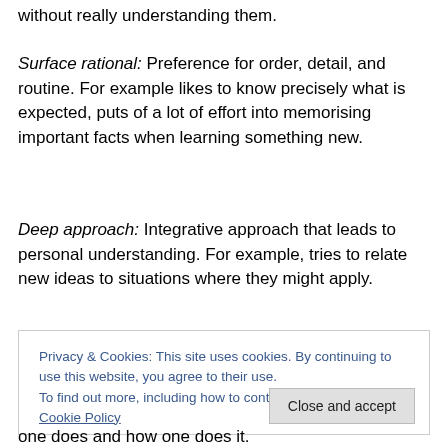without really understanding them.
Surface rational: Preference for order, detail, and routine. For example likes to know precisely what is expected, puts of a lot of effort into memorising important facts when learning something new.
Deep approach: Integrative approach that leads to personal understanding. For example, tries to relate new ideas to situations where they might apply.
Privacy & Cookies: This site uses cookies. By continuing to use this website, you agree to their use.
To find out more, including how to control cookies, see here: Cookie Policy
[Close and accept button]
one does and how one does it.